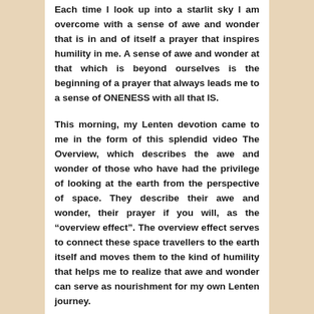Each time I look up into a starlit sky I am overcome with a sense of awe and wonder that is in and of itself a prayer that inspires humility in me. A sense of awe and wonder at that which is beyond ourselves is the beginning of a prayer that always leads me to a sense of ONENESS with all that IS.
This morning, my Lenten devotion came to me in the form of this splendid video The Overview, which describes the awe and wonder of those who have had the privilege of looking at the earth from the perspective of space. They describe their awe and wonder, their prayer if you will, as the “overview effect”. The overview effect serves to connect these space travellers to the earth itself and moves them to the kind of humility that helps me to realize that awe and wonder can serve as nourishment for my own Lenten journey.
As we gaze in awe at our marvellous planet perhaps we can be moved to tread more lightly upon her. Perhaps awestruck by the beauty and wonder of